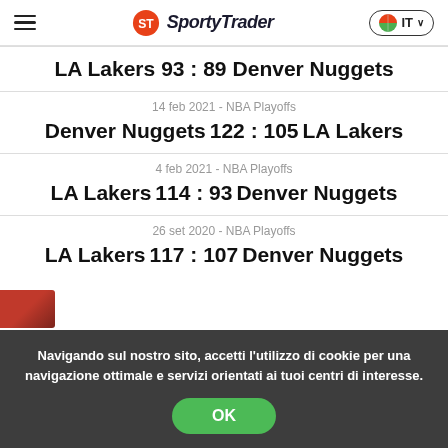SportyTrader - IT
LA Lakers 93 : 89 Denver Nuggets
14 feb 2021 - NBA Playoffs
Denver Nuggets 122 : 105 LA Lakers
4 feb 2021 - NBA Playoffs
LA Lakers 114 : 93 Denver Nuggets
26 set 2020 - NBA Playoffs
LA Lakers 117 : 107 Denver Nuggets
Navigando sul nostro sito, accetti l'utilizzo di cookie per una navigazione ottimale e servizi orientati ai tuoi centri di interesse.